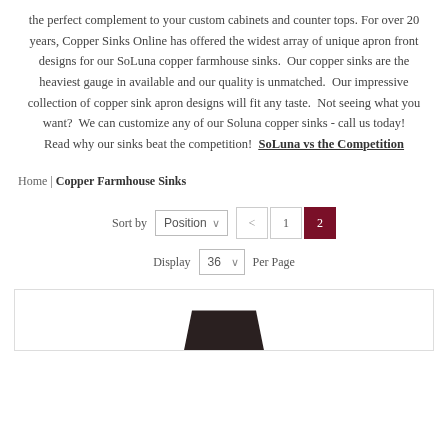the perfect complement to your custom cabinets and counter tops. For over 20 years, Copper Sinks Online has offered the widest array of unique apron front designs for our SoLuna copper farmhouse sinks. Our copper sinks are the heaviest gauge in available and our quality is unmatched. Our impressive collection of copper sink apron designs will fit any taste. Not seeing what you want? We can customize any of our Soluna copper sinks - call us today! Read why our sinks beat the competition! SoLuna vs the Competition
Home | Copper Farmhouse Sinks
Sort by Position < 1 2 Display 36 Per Page
[Figure (photo): Partial view of a copper farmhouse sink product image, dark colored sink visible at bottom]